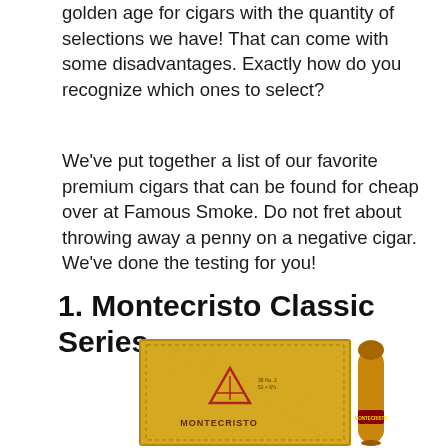golden age for cigars with the quantity of selections we have! That can come with some disadvantages. Exactly how do you recognize which ones to select?
We've put together a list of our favorite premium cigars that can be found for cheap over at Famous Smoke. Do not fret about throwing away a penny on a negative cigar. We've done the testing for you!
1. Montecristo Classic Series
[Figure (photo): Montecristo Classic Series cigar box (yellow/gold with triangular logo and MONTECRISTO text) and a single cigar beside it.]